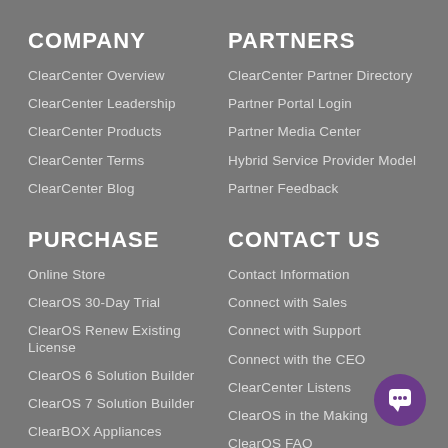COMPANY
ClearCenter Overview
ClearCenter Leadership
ClearCenter Products
ClearCenter Terms
ClearCenter Blog
PARTNERS
ClearCenter Partner Directory
Partner Portal Login
Partner Media Center
Hybrid Service Provider Model
Partner Feedback
PURCHASE
Online Store
ClearOS 30-Day Trial
ClearOS Renew Existing License
ClearOS 6 Solution Builder
ClearOS 7 Solution Builder
ClearBOX Appliances
Register Web Domain
CONTACT US
Contact Information
Connect with Sales
Connect with Support
Connect with the CEO
ClearCenter Listens
ClearOS in the Making
ClearOS FAQ
ClearOS University